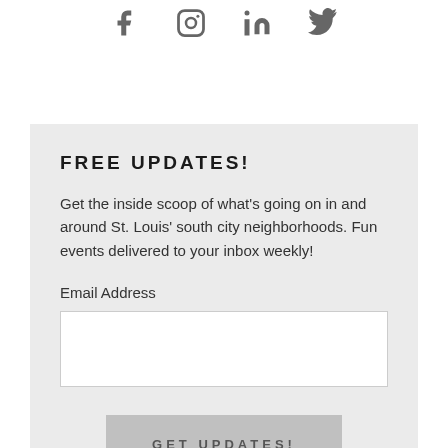[Figure (other): Social media icons: Facebook, Instagram, LinkedIn, Twitter]
FREE UPDATES!
Get the inside scoop of what's going on in and around St. Louis' south city neighborhoods. Fun events delivered to your inbox weekly!
Email Address
GET UPDATES!